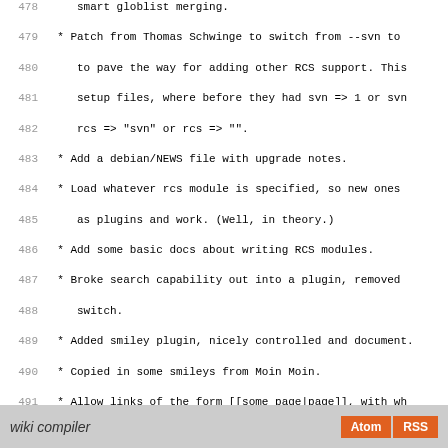478  smart globlist merging.
479   * Patch from Thomas Schwinge to switch from --svn to
       to pave the way for adding other RCS support. This
       setup files, where before they had svn => 1 or svn
       rcs => "svn" or rcs => "".
483   * Add a debian/NEWS file with upgrade notes.
484   * Load whatever rcs module is specified, so new ones
       as plugins and work. (Well, in theory.)
486   * Add some basic docs about writing RCS modules.
487   * Broke search capability out into a plugin, removed
       switch.
489   * Added smiley plugin, nicely controlled and document.
490   * Copied in some smileys from Moin Moin.
491   * Allow links of the form [[some page|page]], with wh
       text.
493   * Removed --sanitize and --no-sanitize, replaced with
       and --disable-plugin htmlscrubber.
495   * Allow discussion links on pages to be turned off wi
496   * Add ikiwiki-mass-rebuild script, ripped out of the
497   * Add some new config items to the estseek.conf temp
       by hyperestraier 1.2.3.
499
500  -- Joey Hess <joeyh@debian.org>  Fri,  5 May 2006 17:0
501
502 ikiwiki (1.0) unstable; urgency=low
503
504   * First official release.
505
506  -- Joey Hess <joeyh@debian.org>  Tue, 25 Apr 2006 02:0
wiki compiler  Atom  RSS